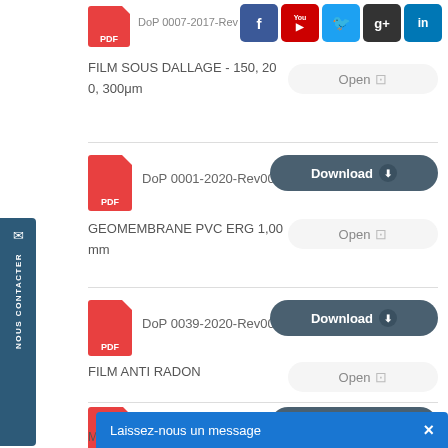[Figure (screenshot): Top bar with PDF icon for DoP 0007-2017-Rev and social media icons: Facebook, YouTube, Twitter, Google+, LinkedIn]
FILM SOUS DALLAGE - 150, 200, 300μm
Open
[Figure (illustration): PDF file icon red]
DoP 0001-2020-Rev002
Download
GEOMEMBRANE PVC ERG 1,00 mm
Open
[Figure (illustration): PDF file icon red]
DoP 0039-2020-Rev001
Download
FILM ANTI RADON
Open
[Figure (illustration): PDF file icon red]
DoP 0038-2019-Rev001
Download
MEMBRANE EPDM
Laissez-nous un message
NOUS CONTACTER